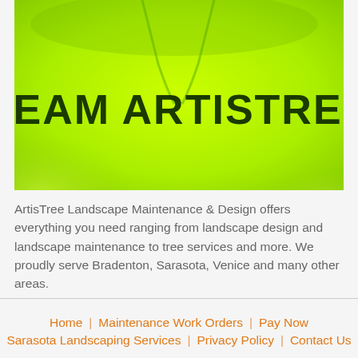[Figure (photo): Close-up photo of a bright neon yellow-green jacket or vest with the text 'TEAM ARTISTREE' printed in large dark green/black bold letters across the chest.]
ArtisTree Landscape Maintenance & Design offers everything you need ranging from landscape design and landscape maintenance to tree services and more. We proudly serve Bradenton, Sarasota, Venice and many other areas.
Home | Maintenance Work Orders | Pay Now | Sarasota Landscaping Services | Privacy Policy | Contact Us